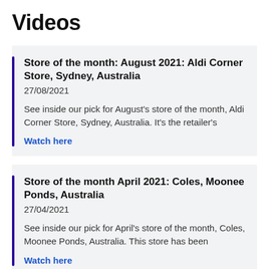Videos
Store of the month: August 2021: Aldi Corner Store, Sydney, Australia
27/08/2021
See inside our pick for August's store of the month, Aldi Corner Store, Sydney, Australia. It's the retailer's
Watch here
Store of the month April 2021: Coles, Moonee Ponds, Australia
27/04/2021
See inside our pick for April's store of the month, Coles, Moonee Ponds, Australia. This store has been
Watch here